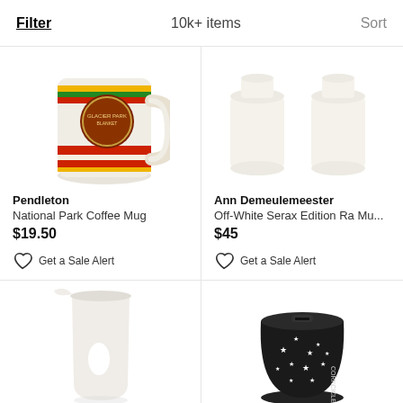Filter | 10k+ items | Sort
[Figure (photo): Pendleton National Park Coffee Mug with Glacier Park Blanket logo, white ceramic mug with colored stripes]
Pendleton
National Park Coffee Mug
$19.50
Get a Sale Alert
[Figure (photo): Ann Demeulemeester Off-White Serax Edition Ra Mu... white ceramic mugs on white background]
Ann Demeulemeester
Off-White Serax Edition Ra Mu...
$45
Get a Sale Alert
[Figure (photo): White angular ceramic pitcher/vase with oval cutout handle]
[Figure (photo): Corkcicle black stemless cup with white star pattern and lid]